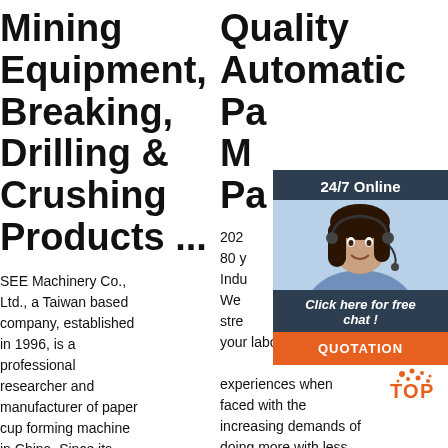Mining Equipment, Breaking, Drilling & Crushing Products ...
SEE Machinery Co., Ltd., a Taiwan based company, established in 1996, is a professional researcher and manufacturer of paper cup forming machine in China. Since its establishment, SEE
Quality Automatic Pa M Pa
202 80 y Indu We stre your laboratory experiences when faced with the increasing demands of doing more with less. The one thing all
[Figure (infographic): Chat widget overlay with '24/7 Online' header, woman with headset image, 'Click here for free chat!' bubble, and orange QUOTATION button. TOP logo with orange dots below.]